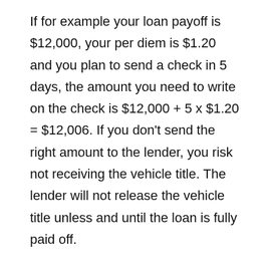If for example your loan payoff is $12,000, your per diem is $1.20 and you plan to send a check in 5 days, the amount you need to write on the check is $12,000 + 5 x $1.20 = $12,006. If you don't send the right amount to the lender, you risk not receiving the vehicle title. The lender will not release the vehicle title unless and until the loan is fully paid off.